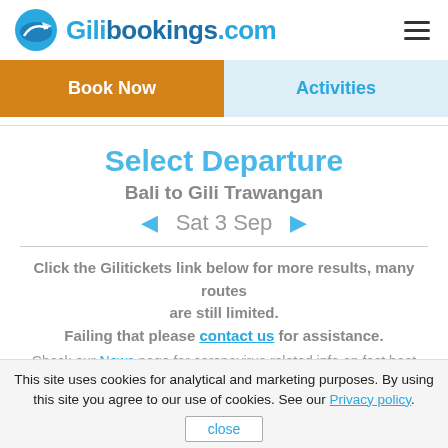Gilibookings.com
Book Now
Activities
Select Departure
Bali to Gili Trawangan
◄ Sat 3 Sep ►
Click the Gilitickets link below for more results, many routes are still limited. Failing that please contact us for assistance.
Check our News page for coronavirus related info on fast boat
This site uses cookies for analytical and marketing purposes. By using this site you agree to our use of cookies. See our Privacy policy. close